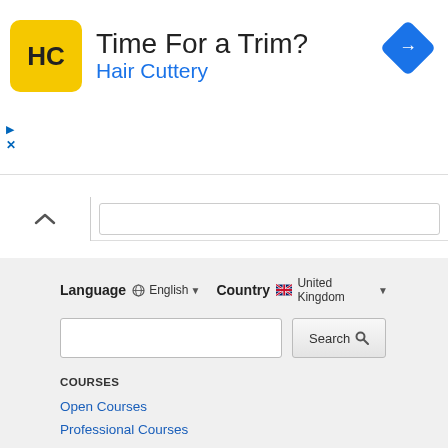[Figure (screenshot): Hair Cuttery advertisement banner with HC logo, 'Time For a Trim?' headline, 'Hair Cuttery' subtext in blue, and a blue diamond-shaped arrow icon on the right]
[Figure (screenshot): Web page search bar with collapse chevron button on left and search input field on right]
Language  English  Country  United Kingdom
[Figure (screenshot): Search input field and Search button]
COURSES
Open Courses
Professional Courses
WikiVideo courses
YouTube courses
Podcast courses
RESOURCES
University MOOC